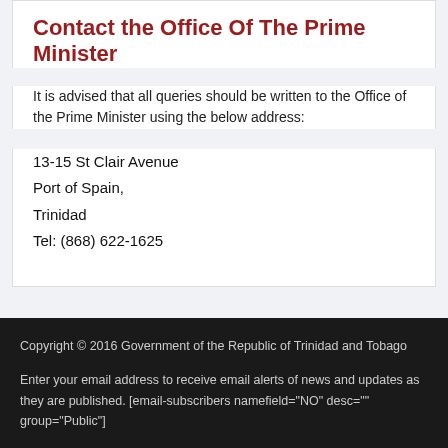Contact the Office Of The Prime Minister
It is advised that all queries should be written to the Office of the Prime Minister using the below address:
13-15 St Clair Avenue
Port of Spain,
Trinidad
Tel: (868) 622-1625
Copyright © 2016 Government of the Republic of Trinidad and Tobago

Enter your email address to receive email alerts of news and updates as they are published. [email-subscribers namefield="NO" desc="" group="Public"]